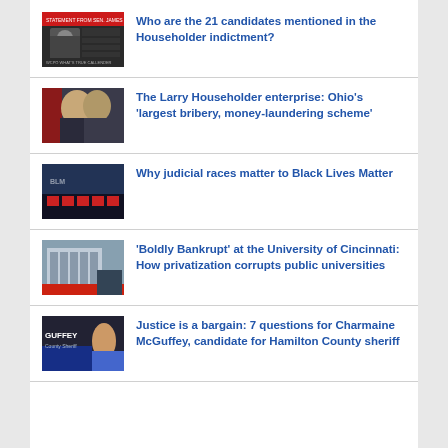Who are the 21 candidates mentioned in the Householder indictment?
The Larry Householder enterprise: Ohio’s ‘largest bribery, money-laundering scheme’
Why judicial races matter to Black Lives Matter
‘Boldly Bankrupt’ at the University of Cincinnati: How privatization corrupts public universities
Justice is a bargain: 7 questions for Charmaine McGuffey, candidate for Hamilton County sheriff